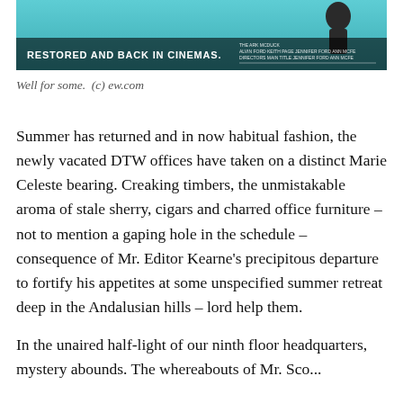[Figure (photo): Movie promotional banner — teal background with text 'RESTORED AND BACK IN CINEMAS' in white bold letters on dark strip, with small figure silhouette and film credits text on the right side.]
Well for some.  (c) ew.com
Summer has returned and in now habitual fashion, the newly vacated DTW offices have taken on a distinct Marie Celeste bearing. Creaking timbers, the unmistakable aroma of stale sherry, cigars and charred office furniture – not to mention a gaping hole in the schedule – consequence of Mr. Editor Kearne's precipitous departure to fortify his appetites at some unspecified summer retreat deep in the Andalusian hills – lord help them.
In the unaired half-light of our ninth floor headquarters, mystery abounds. The whereabouts of Mr. Sco...